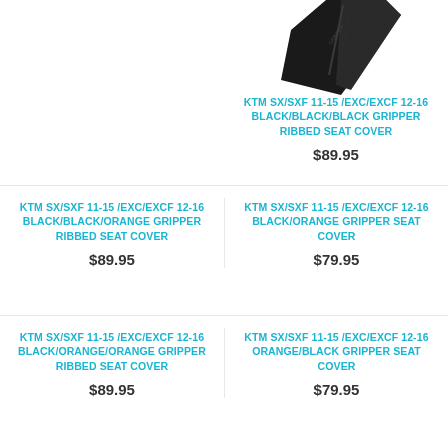[Figure (photo): Partial view of a black motorcycle seat cover product, showing a diagonal angle of the cover against white background]
KTM SX/SXF 11-15 /EXC/EXCF 12-16 BLACK/BLACK/BLACK Gripper Ribbed Seat Cover
$89.95
KTM SX/SXF 11-15 /EXC/EXCF 12-16 BLACK/BLACK/ORANGE Gripper Ribbed Seat Cover
$89.95
KTM SX/SXF 11-15 /EXC/EXCF 12-16 BLACK/ORANGE Gripper Seat Cover
$79.95
KTM SX/SXF 11-15 /EXC/EXCF 12-16 BLACK/ORANGE/ORANGE Gripper Ribbed Seat Cover
$89.95
KTM SX/SXF 11-15 /EXC/EXCF 12-16 ORANGE/BLACK Gripper Seat Cover
$79.95